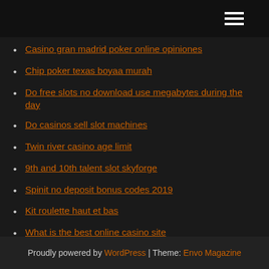Casino gran madrid poker online opiniones
Chip poker texas boyaa murah
Do free slots no download use megabytes during the day
Do casinos sell slot machines
Twin river casino age limit
9th and 10th talent slot skyforge
Spinit no deposit bonus codes 2019
Kit roulette haut et bas
What is the best online casino site
Symptoms of compulsive gambling disorder
Proudly powered by WordPress | Theme: Envo Magazine